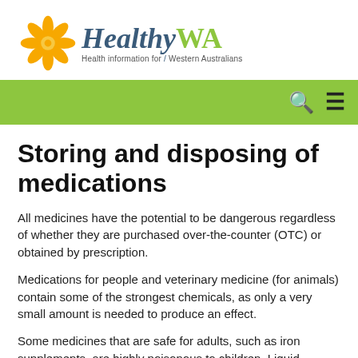[Figure (logo): HealthyWA logo — sunflower graphic with text 'HealthyWA' and tagline 'Health information for Western Australians']
HealthyWA — Health information for Western Australians
Storing and disposing of medications
All medicines have the potential to be dangerous regardless of whether they are purchased over-the-counter (OTC) or obtained by prescription.
Medications for people and veterinary medicine (for animals) contain some of the strongest chemicals, as only a very small amount is needed to produce an effect.
Some medicines that are safe for adults, such as iron supplements, are highly poisonous to children. Liquid paracetamol is also a common cause of poisoning in children.